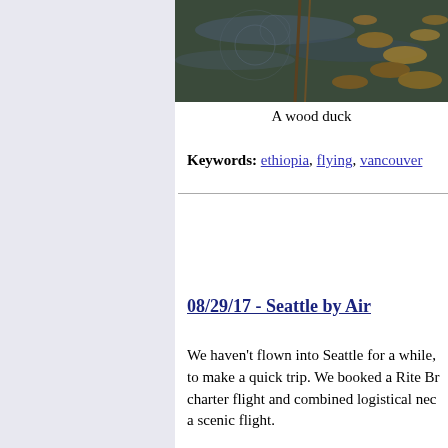[Figure (photo): A photo of a wood duck near water with leaves and a stick]
A wood duck
Keywords: ethiopia, flying, vancouver
08/29/17 - Seattle by Air
We haven't flown into Seattle for a while, to make a quick trip. We booked a Rite Br charter flight and combined logistical nec a scenic flight.